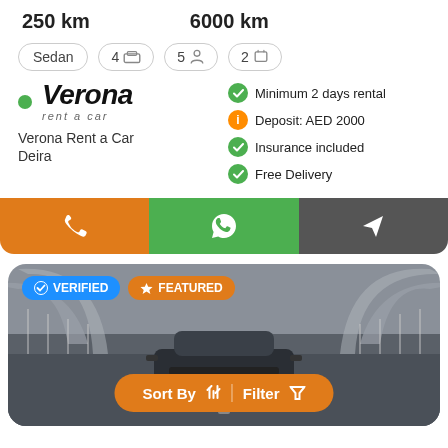250 km    6000 km
Sedan  4  5  2
[Figure (screenshot): Verona Rent a Car logo with green dot]
Verona Rent a Car
Deira
Minimum 2 days rental
Deposit: AED 2000
Insurance included
Free Delivery
[Figure (screenshot): Action buttons: phone (orange), WhatsApp (green), send (dark gray)]
[Figure (photo): Car driving on bridge road with VERIFIED and FEATURED badges and Sort By / Filter button overlay]